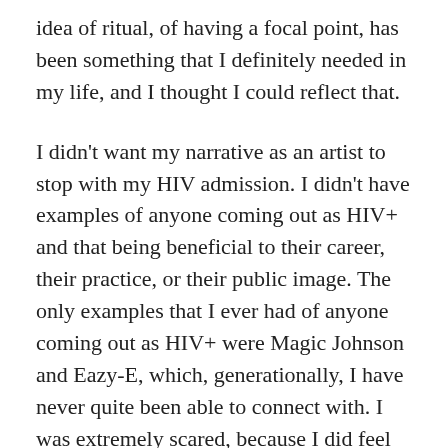idea of ritual, of having a focal point, has been something that I definitely needed in my life, and I thought I could reflect that.
I didn't want my narrative as an artist to stop with my HIV admission. I didn't have examples of anyone coming out as HIV+ and that being beneficial to their career, their practice, or their public image. The only examples that I ever had of anyone coming out as HIV+ were Magic Johnson and Eazy-E, which, generationally, I have never quite been able to connect with. I was extremely scared, because I did feel as if I was on a path to breaking more barriers, within hip-hop and performance work. When I did come out and there was support, it became very clear professionally and personally who would want to